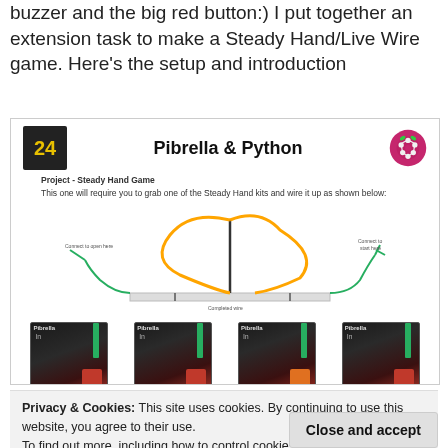buzzer and the big red button:) I put together an extension task to make a Steady Hand/Live Wire game. Here’s the setup and introduction
[Figure (screenshot): Screenshot of a Pibrella & Python educational slide showing the Project - Steady Hand Game with wiring diagram and four photos of Pibrella boards with red button and green cable connections. Header has '24' logo and Raspberry Pi logo.]
Privacy & Cookies: This site uses cookies. By continuing to use this website, you agree to their use.
To find out more, including how to control cookies, see here: Cookie Policy
Close and accept